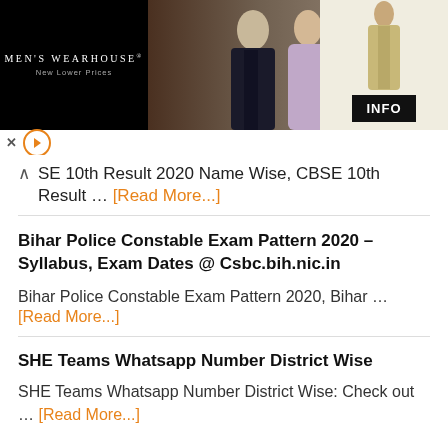[Figure (screenshot): Men's Wearhouse advertisement banner showing a couple in formal wear and a man in a tan suit, with INFO button]
SE 10th Result 2020 Name Wise, CBSE 10th Result … [Read More...]
Bihar Police Constable Exam Pattern 2020 – Syllabus, Exam Dates @ Csbc.bih.nic.in
Bihar Police Constable Exam Pattern 2020, Bihar … [Read More...]
SHE Teams Whatsapp Number District Wise
SHE Teams Whatsapp Number District Wise: Check out … [Read More...]